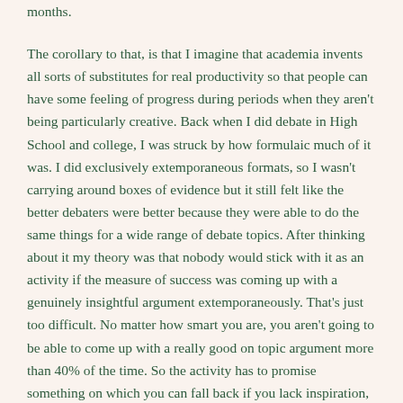months.
The corollary to that, is that I imagine that academia invents all sorts of substitutes for real productivity so that people can have some feeling of progress during periods when they aren't being particularly creative. Back when I did debate in High School and college, I was struck by how formulaic much of it was. I did exclusively extemporaneous formats, so I wasn't carrying around boxes of evidence but it still felt like the better debaters were better because they were able to do the same things for a wide range of debate topics. After thinking about it my theory was that nobody would stick with it as an activity if the measure of success was coming up with a genuinely insightful argument extemporaneously. That's just too difficult. No matter how smart you are, you aren't going to be able to come up with a really good on topic argument more than 40% of the time. So the activity has to promise something on which you can fall back if you lack inspiration, and debate certainly did that. You could always make relatively vacuous arguments in the correct style, and win a decent percentage of the time.
I imagine that academia has to do something similar. It has to allow people to the opportunity to win by playing the game "properly" at times when they can't win on substance -- because nobody has the